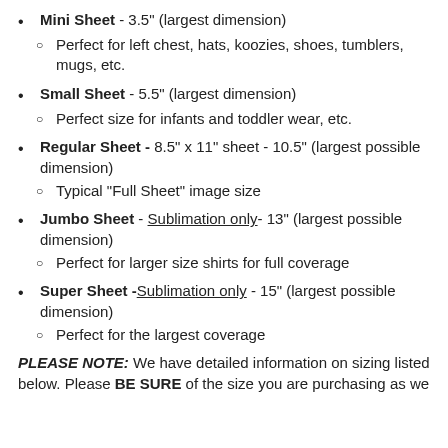Mini Sheet - 3.5" (largest dimension)
Perfect for left chest, hats, koozies, shoes, tumblers, mugs, etc.
Small Sheet - 5.5" (largest dimension)
Perfect size for infants and toddler wear, etc.
Regular Sheet - 8.5" x 11" sheet - 10.5" (largest possible dimension)
Typical "Full Sheet" image size
Jumbo Sheet - Sublimation only- 13" (largest possible dimension)
Perfect for larger size shirts for full coverage
Super Sheet -Sublimation only - 15" (largest possible dimension)
Perfect for the largest coverage
PLEASE NOTE: We have detailed information on sizing listed below. Please BE SURE of the size you are purchasing as we